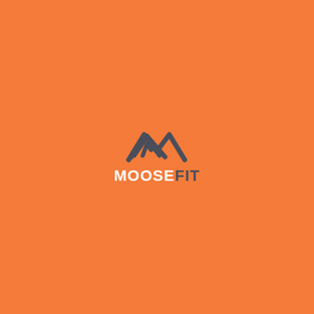[Figure (logo): MooseFit logo centered on orange background. Features a dark grey mountain/moose antler chevron icon above the text 'MOOSEFIT' where 'MOOSE' is in white and 'FIT' is in dark grey, all caps bold font.]